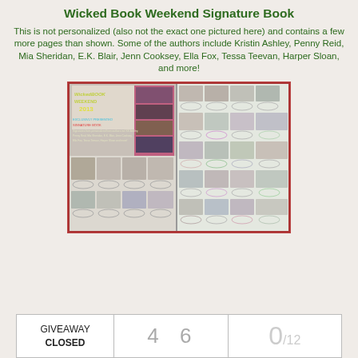Wicked Book Weekend Signature Book
This is not personalized (also not the exact one pictured here) and contains a few more pages than shown. Some of the authors include Kristin Ashley, Penny Reid, Mia Sheridan, E.K. Blair, Jenn Cooksey, Ella Fox, Tessa Teevan, Harper Sloan, and more!
[Figure (photo): Photo of the Wicked Book Weekend 2013 Signature Book showing open pages with author photos and signatures arranged in a grid layout.]
| GIVEAWAY CLOSED | 4 6 | 0/12 |
| --- | --- | --- |